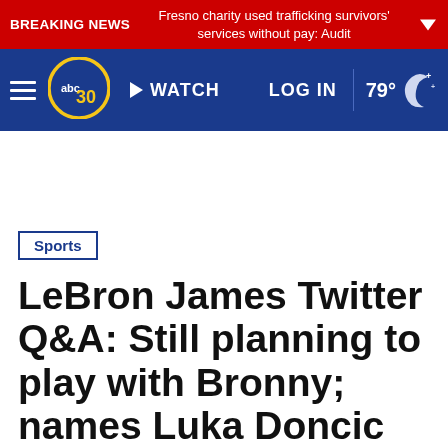BREAKING NEWS Fresno charity used trafficking survivors' services without pay: Audit
[Figure (screenshot): ABC30 news website navigation bar with hamburger menu, ABC30 logo, WATCH button, LOG IN link, and 79° weather with moon icon]
Sports
LeBron James Twitter Q&A: Still planning to play with Bronny; names Luka Doncic as his favorite p